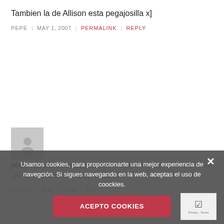Tambien la de Allison esta pegajosilla x]
PEPE | MAY 1, 2007 | PERMALINK | REPLY
[Figure (illustration): Gray avatar placeholder with silhouette person icon]
jajaja... pork hace perita bio claro caeringo no te u ... me lo en el cc , jo traia medio presente jiji saludos
LITOST | MAY 1, 2007 | ... PLY
Usamos cookies, para proporcionarte una mejor experiencia de navegción. Si sigues navegando en la web, aceptas el uso de coockies.
ACEPTO COOKIES